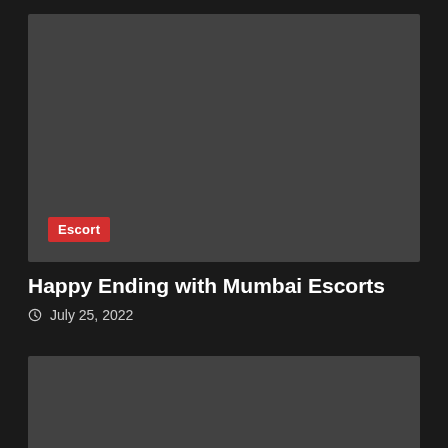[Figure (photo): Gray placeholder image card with an 'Escort' red label tag in the lower left corner]
Happy Ending with Mumbai Escorts
July 25, 2022
[Figure (photo): Gray placeholder image card, second article thumbnail, with a red back-to-top button overlay in the lower right]